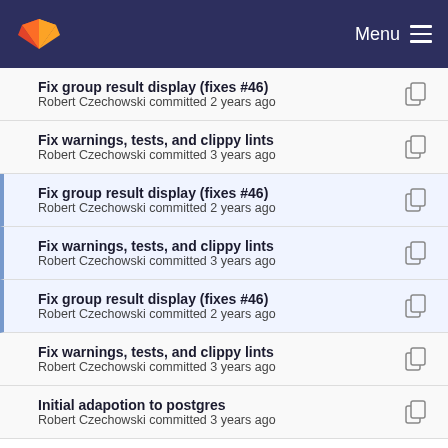GitLab — Menu
Fix group result display (fixes #46)
Robert Czechowski committed 2 years ago
Fix warnings, tests, and clippy lints
Robert Czechowski committed 3 years ago
Fix group result display (fixes #46)
Robert Czechowski committed 2 years ago
Fix warnings, tests, and clippy lints
Robert Czechowski committed 3 years ago
Fix group result display (fixes #46)
Robert Czechowski committed 2 years ago
Fix warnings, tests, and clippy lints
Robert Czechowski committed 3 years ago
Initial adapotion to postgres
Robert Czechowski committed 3 years ago